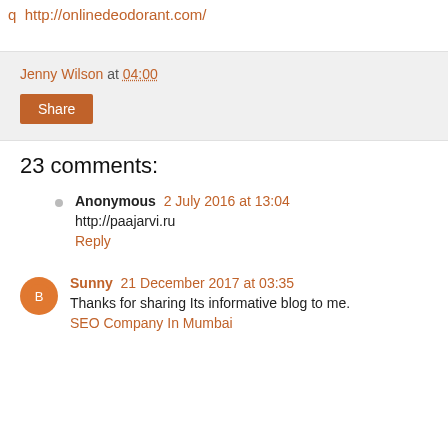q  http://onlinedeodorant.com/
Jenny Wilson at 04:00
Share
23 comments:
Anonymous  2 July 2016 at 13:04
http://paajarvi.ru
Reply
Sunny  21 December 2017 at 03:35
Thanks for sharing Its informative blog to me.
SEO Company In Mumbai